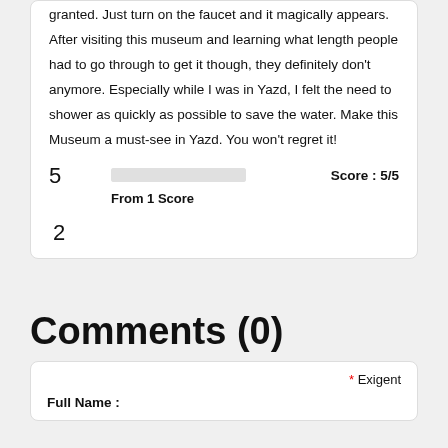granted. Just turn on the faucet and it magically appears. After visiting this museum and learning what length people had to go through to get it though, they definitely don't anymore. Especially while I was in Yazd, I felt the need to shower as quickly as possible to save the water. Make this Museum a must-see in Yazd. You won't regret it!
5
[Figure (other): A horizontal progress/score bar, mostly unfilled gray rectangle]
Score : 5/5
From 1 Score
2
Comments (0)
* Exigent
Full Name :